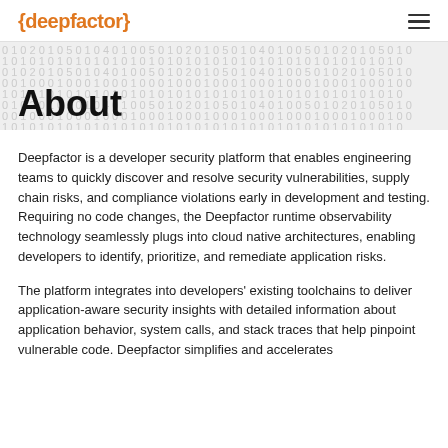{deepfactor}
About
Deepfactor is a developer security platform that enables engineering teams to quickly discover and resolve security vulnerabilities, supply chain risks, and compliance violations early in development and testing. Requiring no code changes, the Deepfactor runtime observability technology seamlessly plugs into cloud native architectures, enabling developers to identify, prioritize, and remediate application risks.
The platform integrates into developers' existing toolchains to deliver application-aware security insights with detailed information about application behavior, system calls, and stack traces that help pinpoint vulnerable code. Deepfactor simplifies and accelerates